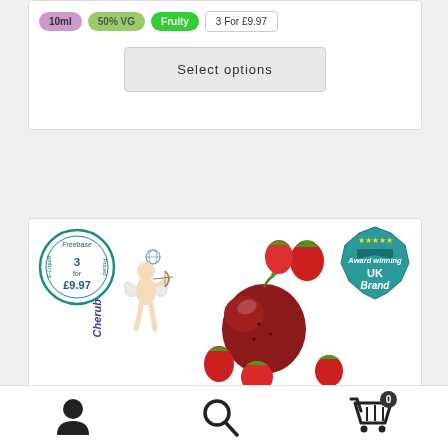[Figure (other): Product tags row: 10ml (purple), 50% VG (light green), Fruity (green), 3 For £9.97 (outline)]
Select options
[Figure (other): Product card with circular badge '3 for £9.97 Freebase E-Liquid', Cherub brand logo, strawberry and apple fruit images, and award badge 'Award winning UK Brand']
[Figure (other): Bottom navigation bar with user icon, search icon, and cart icon with badge '0']